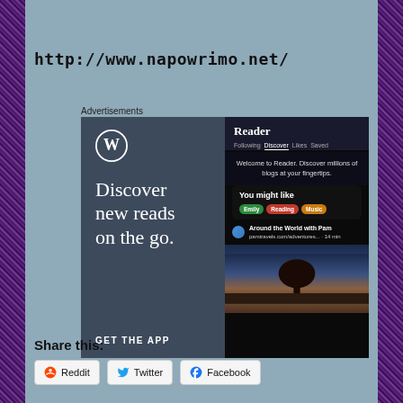http://www.napowrimo.net/
Advertisements
[Figure (screenshot): WordPress advertisement showing 'Discover new reads on the go.' with WordPress logo, app interface screenshot showing Reader with Discover tab, You might like section with colored tags (Emily, Reading, Music), Around the World with Pam blog post, and sunset/tree landscape photo. CTA text reads 'GET THE APP'.]
Share this:
Reddit
Twitter
Facebook